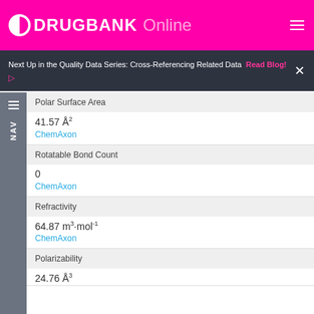DRUGBANK Online
Next Up in the Quality Data Series: Cross-Referencing Related Data  Read Blog!
Polar Surface Area
41.57 Å²
ChemAxon
Rotatable Bond Count
0
ChemAxon
Refractivity
64.87 m³·mol⁻¹
ChemAxon
Polarizability
24.76 Å³